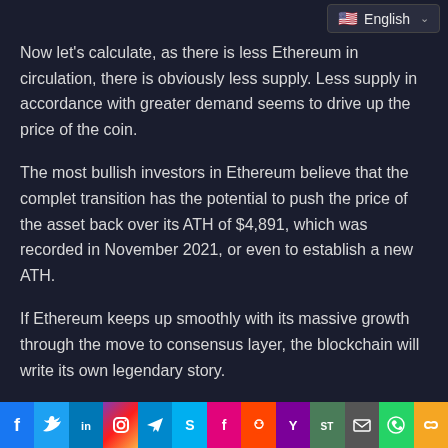English
Now let's calculate, as there is less Ethereum in circulation, there is obviously less supply. Less supply in accordance with greater demand seems to drive up the price of the coin.
The most bullish investors in Ethereum believe that the complet transition has the potential to push the price of the asset back over its ATH of $4,891, which was recorded in November 2021, or even to establish a new ATH.
If Ethereum keeps up smoothly with its massive growth through the move to consensus layer, the blockchain will write its own legendary story.
Coinsmart. Europe's Best Bitcoin and Crypto
Social share bar: Facebook, Twitter, LinkedIn, Instagram, Telegram, Skype, Flipboard, Reddit, Yahoo, SmarterTravel, Email, WhatsApp, Link